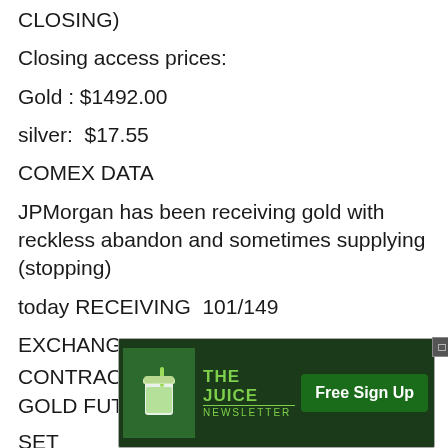CLOSING)
Closing access prices:
Gold : $1492.00
silver:  $17.55
COMEX DATA
JPMorgan has been receiving gold with reckless abandon and sometimes supplying (stopping)
today RECEIVING  101/149
EXCHANGE: COMEX
CONTRACT: OCTOBER 2019 COMEX 100 GOLD FUTURES
SET
INTE
10/18/2019
[Figure (other): Advertisement banner for 'The Juice Newsletter' with a Free Sign Up button, overlaid on the document content]